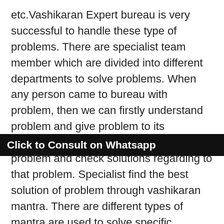etc.Vashikaran Expert bureau is very successful to handle these type of problems. There are specialist team member which are divided into different departments to solve problems. When any person came to bureau with problem, then we can firstly understand problem and give problem to its specialist. The specialist person analyzes problem and check solutions regarding to that problem. Specialist find the best solution of problem through vashikaran mantra. There are different types of mantra are used to solve specific problem.Vashikaran is mostly use in this world to solve problems. There are large numbers of vashikaran Expert to solve humans problems, but some are fake. No one provide you hundred percent solutions to your problem. Our bureau provides you may solutions to solve your problem. It is not joke, its really true. If our mantra does not work then we
[Figure (other): Black banner overlay with bold white text: 'Click to Consult on Whatsapp']